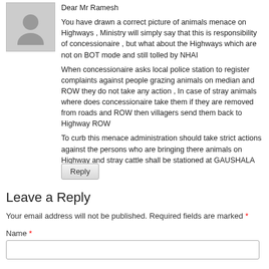[Figure (illustration): Gray silhouette avatar of a person, used as a default profile picture for a comment author.]
Dear Mr Ramesh
You have drawn a correct picture of animals menace on Highways , Ministry will simply say that this is responsibility of concessionaire , but what about the Highways which are not on BOT mode and still tolled by NHAI
When concessionaire asks local police station to register complaints against people grazing animals on median and ROW they do not take any action , In case of stray animals where does concessionaire take them if they are removed from roads and ROW then villagers send them back to Highway ROW
To curb this menace administration should take strict actions against the persons who are bringing there animals on Highway and stray cattle shall be stationed at GAUSHALA
Reply
Leave a Reply
Your email address will not be published. Required fields are marked *
Name *